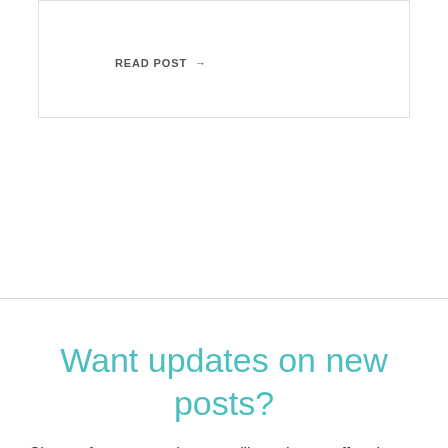READ POST →
Want updates on new posts?
Sign up for our newsletter, we'll send you coffee tips as well!
Email  SUBSCRIBE